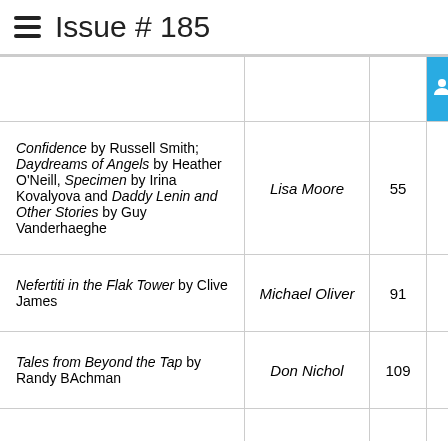Issue # 185
| Book | Reviewer | Page |
| --- | --- | --- |
| Confidence by Russell Smith; Daydreams of Angels by Heather O'Neill, Specimen by Irina Kovalyova and Daddy Lenin and Other Stories by Guy Vanderhaeghe | Lisa Moore | 55 |
| Nefertiti in the Flak Tower by Clive James | Michael Oliver | 91 |
| Tales from Beyond the Tap by Randy BAchman | Don Nichol | 109 |